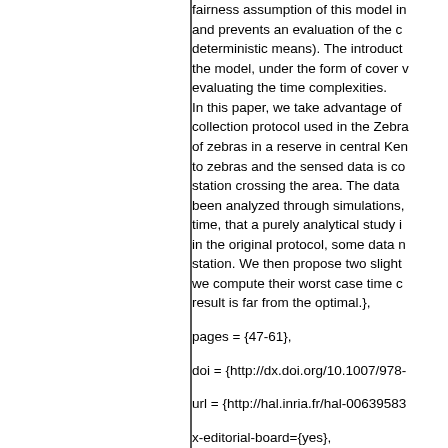fairness assumption of this model in and prevents an evaluation of the c deterministic means). The introduct the model, under the form of cover v evaluating the time complexities. In this paper, we take advantage of collection protocol used in the Zebra of zebras in a reserve in central Ken to zebras and the sensed data is co station crossing the area. The data been analyzed through simulations, time, that a purely analytical study i in the original protocol, some data n station. We then propose two slight we compute their worst case time c result is far from the optimal.},
pages = {47-61},
doi = {http://dx.doi.org/10.1007/978-
url = {http://hal.inria.fr/hal-00639583
x-editorial-board={yes},